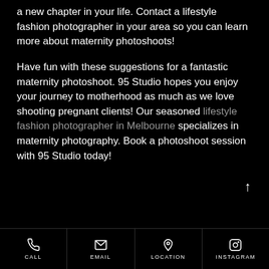a new chapter in your life. Contact a lifestyle fashion photographer in your area so you can learn more about maternity photoshoots!
Have fun with these suggestions for a fantastic maternity photoshoot. 95 Studio hopes you enjoy your journey to motherhood as much as we love shooting pregnant clients! Our seasoned lifestyle fashion photographer in Melbourne specializes in maternity photography. Book a photoshoot session with 95 Studio today!
CALL | EMAIL | LOCATION | INSTAGRAM